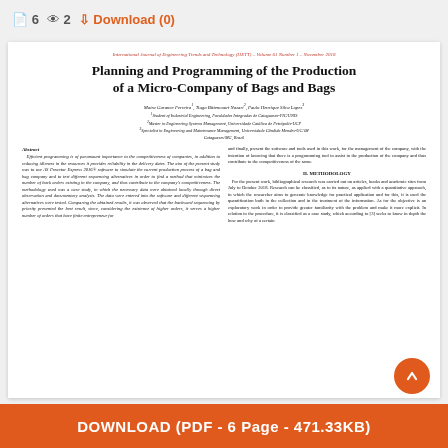6  2  Download (0)
International Journal of Engineering Trends and Technology (IJETT) – Volume 61 Number 1 – November 2018
Planning and Programming of the Production of a Micro-Company of Bags and Bags
Maira Garance Ferreira¹, Tiago Bittencourt Nazari², Paulo Henrique Silva Lopes³
¹Student of Industrial Engineering, Faculdades Integradas de Cataguases-FIC/UNIS
²Master in Engineering Systems Management, Universidade Católica de Petrópolis-UCP
³Specialist in Engineering and Maintenance Management, Universidade Cândido Mendes-UCAM
Cataguases/MG, Brazil
Abstract
Efficient programming is of paramount importance to the competitiveness of companies, in addition to reducing idleness in the resources it provides reliability in the delivery dates. The aim of the present study was to use AS Preactor Express 2016® software to simulate the current production process of a bag and bag company and to test different sequencing alternatives in order to find a method that minimizes the number of back orders existing in the company, and thus contribute to the company's competitiveness. The methodology used was a case study, in which the necessary data were obtained locally through direct observation and documentary analysis. The data were entered into the software and different sequencing alternatives were tested. Comparing the obtained results, it was observed that the backward sequencing by priority presented the best result, since, considering the existence of higher orders, it serves a higher number of orders that have finite entrepreneur for
and finally, present the software and tools used in this work, for the management of the company, with the intention of knowing that there is a programming tool to assist in the production of the company and thus contribute to the competitiveness of the same.
II. METHODOLOGY
For the present work, bibliographical research was carried out on articles, books and academic sites from July to October 2018. Research can be classified, as to its nature, as applied with a quantitative approach, in which the researcher aims to generate knowledge for practical application and for this, it is used the quantification both in the collection and in the treatment of the information. As for the objective is an exploratory work in order to provide greater familiarity with the problem and make it more explicit. In relation to the procedure, it is classified as a case study, which according to [3] seeks to know in depth the how and why of a certain
DOWNLOAD (PDF - 6 Page - 471.33KB)